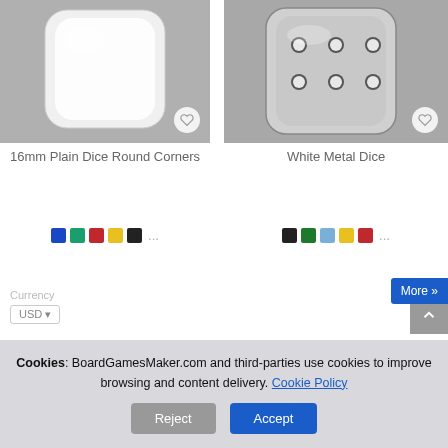[Figure (photo): 16mm plain white dice with round corners on grey background]
16mm Plain Dice Round Corners
[Figure (photo): White metal dice (silver/chrome finish) with white pips on grey background]
White Metal Dice
... (color swatches: blue, teal, red, yellow, black) ...
... (color swatches: black, green, light blue, yellow, red) ...
More »
Cookies: BoardGamesMaker.com and third-parties use cookies to improve browsing and content delivery. Cookie Policy
Reject
Accept
Currency
USD